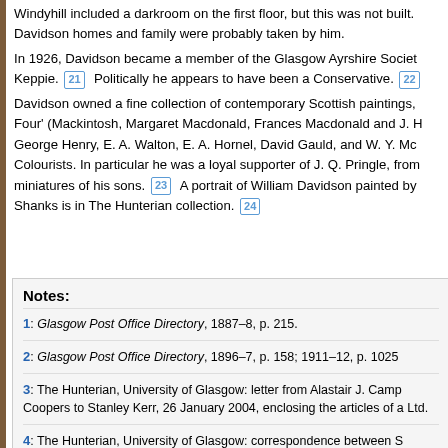Windyhill included a darkroom on the first floor, but this was not built. Davidson homes and family were probably taken by him.
In 1926, Davidson became a member of the Glasgow Ayrshire Society with Keppie. [21] Politically he appears to have been a Conservative. [22]
Davidson owned a fine collection of contemporary Scottish paintings, including the 'Four' (Mackintosh, Margaret Macdonald, Frances Macdonald and J. H...), George Henry, E. A. Walton, E. A. Hornel, David Gauld, and W. Y. Mc... Colourists. In particular he was a loyal supporter of J. Q. Pringle, from... miniatures of his sons. [23] A portrait of William Davidson painted by ... Shanks is in The Hunterian collection. [24]
Notes:
1: Glasgow Post Office Directory, 1887–8, p. 215.
2: Glasgow Post Office Directory, 1896–7, p. 158; 1911–12, p. 1025
3: The Hunterian, University of Glasgow: letter from Alastair J. Camp... Coopers to Stanley Kerr, 26 January 2004, enclosing the articles of ... Ltd.
4: The Hunterian, University of Glasgow: correspondence between S...